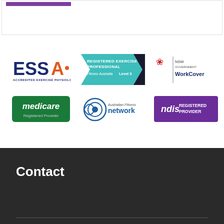[Figure (logo): Top section with purple bar - partial view of page header]
[Figure (logo): ESSA Accredited Exercise Physiologist logo - blue and orange text]
[Figure (logo): Registered Exercise Professional - Fitness Australia Level 3 logo with teal chevron design]
[Figure (logo): NSW Government WorkCover logo with red lotus flower emblem]
[Figure (logo): Medicare Registered Provider logo - green background with white text]
[Figure (logo): Australian Fitness Network logo with circular eye/target design]
[Figure (logo): NDIS Registered Provider logo - purple background with white text]
Contact